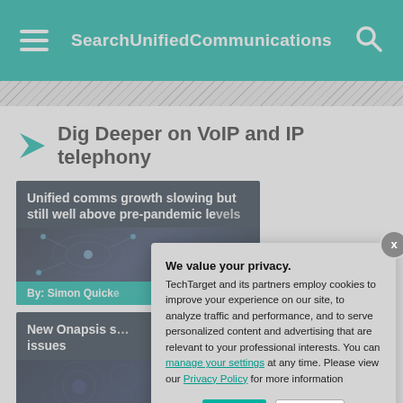SearchUnifiedCommunications
Dig Deeper on VoIP and IP telephony
[Figure (screenshot): Article card: Unified comms growth slowing but still well above pre-pandemic levels, by Simon Quick]
[Figure (screenshot): Article card: New Onapsis s... issues, by Jim O'Donnel]
We value your privacy. TechTarget and its partners employ cookies to improve your experience on our site, to analyze traffic and performance, and to serve personalized content and advertising that are relevant to your professional interests. You can manage your settings at any time. Please view our Privacy Policy for more information
OK
Settings